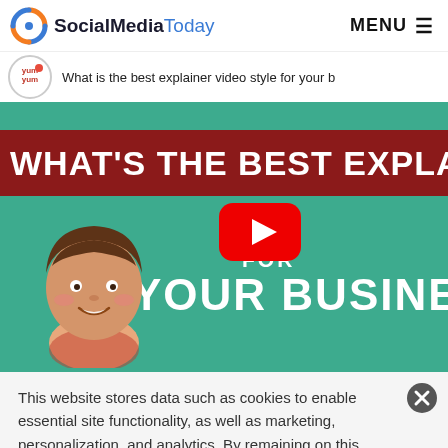SocialMediaToday — MENU
[Figure (screenshot): YouTube video thumbnail for 'What is the best explainer video style for your business' by Yum Yum Videos. Shows a teal/green background with a dark red banner reading 'WHAT'S THE BEST EXPLAINER' and text 'FOR YOUR BUSINESS' with a YouTube play button in the center and a cartoon character on the left.]
This website stores data such as cookies to enable essential site functionality, as well as marketing, personalization, and analytics. By remaining on this website you indicate your consent. Privacy Policy